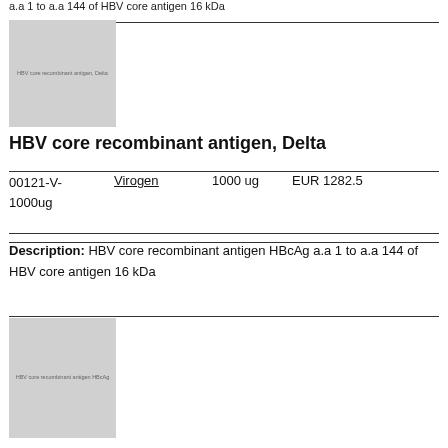a.a 1 to a.a 144 of HBV core antigen 16 kDa
[Figure (photo): Gray placeholder image of HBV core recombinant antigen, Delta product]
HBV core recombinant antigen, Delta
00121-V-1000ug   Virogen   1000 ug   EUR 1282.5
Description: HBV core recombinant antigen HBcAg a.a 1 to a.a 144 of HBV core antigen 16 kDa
[Figure (photo): Gray placeholder image of HBV core recombinant antigen HBcAg product]